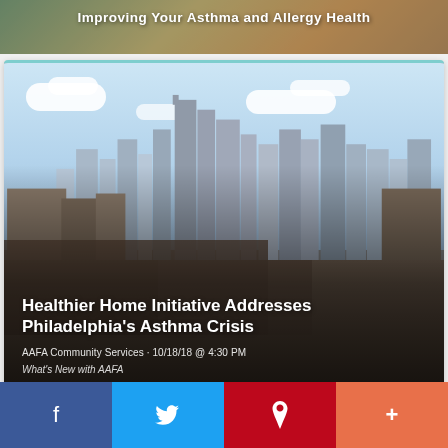[Figure (photo): Partial card at top showing text 'Improving Your Asthma and Allergy Health' overlaid on a lifestyle/food photo]
[Figure (photo): Philadelphia skyline cityscape photo used as background for article card]
Healthier Home Initiative Addresses Philadelphia's Asthma Crisis
AAFA Community Services · 10/18/18 @ 4:30 PM
What's New with AAFA
[Figure (screenshot): Partial bottom card with teal top border]
[Figure (infographic): Social sharing bar with Facebook, Twitter, Pinterest, and More buttons]